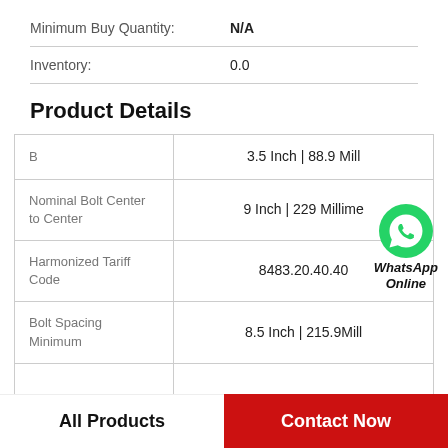Minimum Buy Quantity: N/A
Inventory: 0.0
Product Details
| Attribute | Value |
| --- | --- |
| B | 3.5 Inch | 88.9 Mill |
| Nominal Bolt Center to Center | 9 Inch | 229 Millime... |
| Harmonized Tariff Code | 8483.20.40.40 |
| Bolt Spacing Minimum | 8.5 Inch | 215.9Mill |
|  |  |
All Products   Contact Now